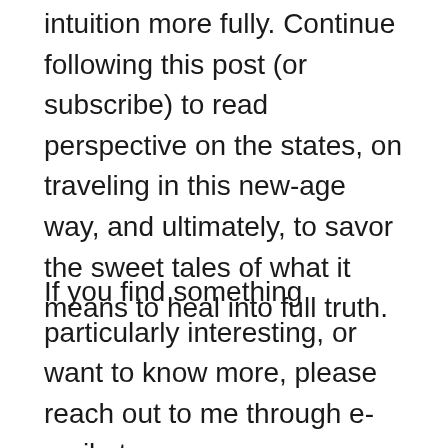intuition more fully. Continue following this post (or subscribe) to read perspective on the states, on traveling in this new-age way, and ultimately, to savor the sweet tales of what it means to heal into full truth.
If you find something particularly interesting, or want to know more, please reach out to me through e-mail at trinity@talesoftrinity.com